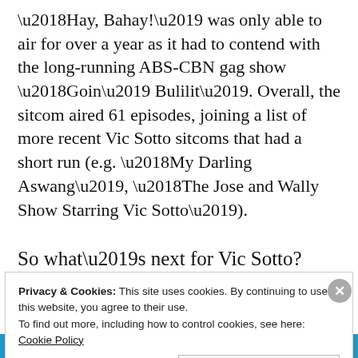'Hay, Bahay!' was only able to air for over a year as it had to contend with the long-running ABS-CBN gag show 'Goin' Bulilit'. Overall, the sitcom aired 61 episodes, joining a list of more recent Vic Sotto sitcoms that had a short run (e.g. 'My Darling Aswang', 'The Jose and Wally Show Starring Vic Sotto').
So what's next for Vic Sotto?
Privacy & Cookies: This site uses cookies. By continuing to use this website, you agree to their use.
To find out more, including how to control cookies, see here: Cookie Policy
Close and accept